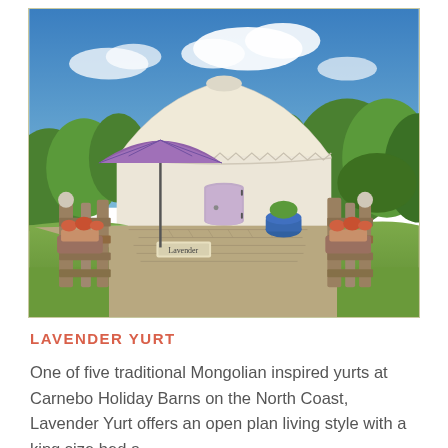[Figure (photo): A white Mongolian-style yurt with a lavender/purple door, approached through a rustic wooden gate. A purple patio umbrella stands near the gate. Flower planters hang on the gate posts. Blue sky with white clouds and green trees in the background. Brick paving leads to the yurt entrance.]
LAVENDER YURT
One of five traditional Mongolian inspired yurts at Carnebo Holiday Barns on the North Coast, Lavender Yurt offers an open plan living style with a king size bed a